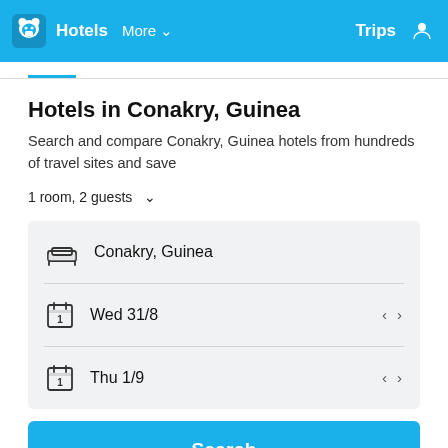Hotels  More  Trips
Hotels in Conakry, Guinea
Search and compare Conakry, Guinea hotels from hundreds of travel sites and save
1 room, 2 guests
Conakry, Guinea
Wed 31/8
Thu 1/9
Search